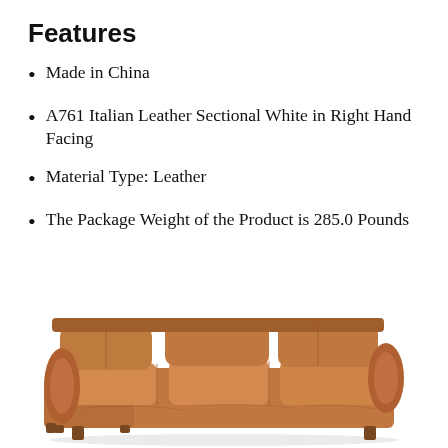Features
Made in China
A761 Italian Leather Sectional White in Right Hand Facing
Material Type: Leather
The Package Weight of the Product is 285.0 Pounds
[Figure (photo): Brown leather sectional sofa with three cushions and rolled armrests, photographed from the front at slight angle.]